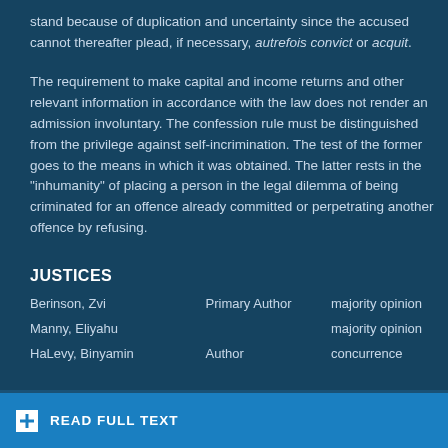stand because of duplication and uncertainty since the accused cannot thereafter plead, if necessary, autrefois convict or acquit.
The requirement to make capital and income returns and other relevant information in accordance with the law does not render an admission involuntary. The confession rule must be distinguished from the privilege against self-incrimination. The test of the former goes to the means in which it was obtained. The latter rests in the "inhumanity" of placing a person in the legal dilemma of being criminated for an offence already committed or perpetrating another offence by refusing.
JUSTICES
| Name | Role | Opinion |
| --- | --- | --- |
| Berinson, Zvi | Primary Author | majority opinion |
| Manny, Eliyahu |  | majority opinion |
| HaLevy, Binyamin | Author | concurrence |
READ FULL TEXT